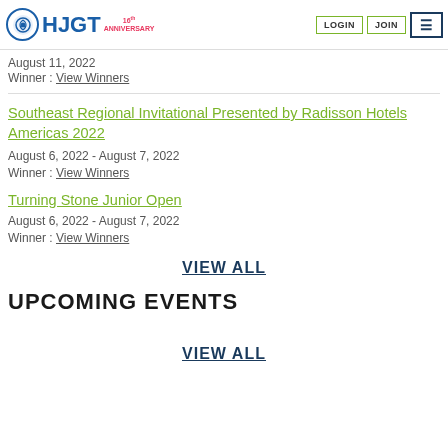HJGT 16th ANNIVERSARY | LOGIN | JOIN | ☰
College Prep Series at SUNY Cortland
August 11, 2022
Winner : View Winners
Southeast Regional Invitational Presented by Radisson Hotels Americas 2022
August 6, 2022  -  August 7, 2022
Winner : View Winners
Turning Stone Junior Open
August 6, 2022  -  August 7, 2022
Winner : View Winners
VIEW ALL
UPCOMING EVENTS
VIEW ALL